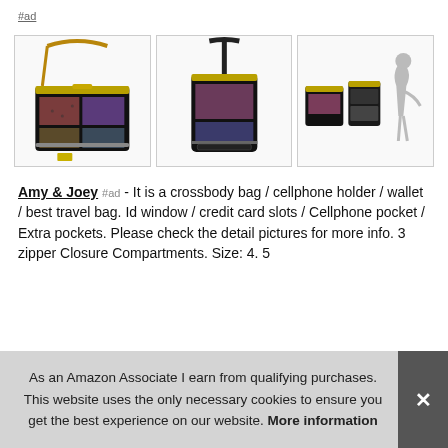#ad
[Figure (photo): Three product photos of a crossbody bag/cellphone holder wallet with photo print design, shown from different angles including front view, side/hanging view, and accessories/compartments view]
Amy & Joey #ad - It is a crossbody bag / cellphone holder / wallet / best travel bag. Id window / credit card slots / Cellphone pocket / Extra pockets. Please check the detail pictures for more info. 3 zipper Closure Compartments. Size: 4. 5
As an Amazon Associate I earn from qualifying purchases. This website uses the only necessary cookies to ensure you get the best experience on our website. More information